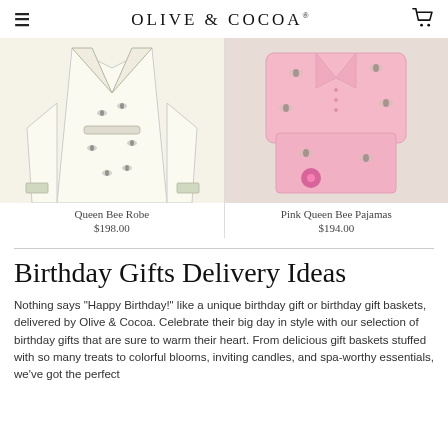Olive & Cocoa
[Figure (photo): Queen Bee Robe product photo - cream/ivory colored robe with bee print pattern]
Queen Bee Robe
$198.00
[Figure (photo): Pink Queen Bee Pajamas product photo - pink pajamas with bee print pattern]
Pink Queen Bee Pajamas
$194.00
Birthday Gifts Delivery Ideas
Nothing says "Happy Birthday!" like a unique birthday gift or birthday gift baskets, delivered by Olive & Cocoa. Celebrate their big day in style with our selection of birthday gifts that are sure to warm their heart. From delicious gift baskets stuffed with so many treats to colorful blooms, inviting candles, and spa-worthy essentials, we've got the perfect present for any age and any celebration.